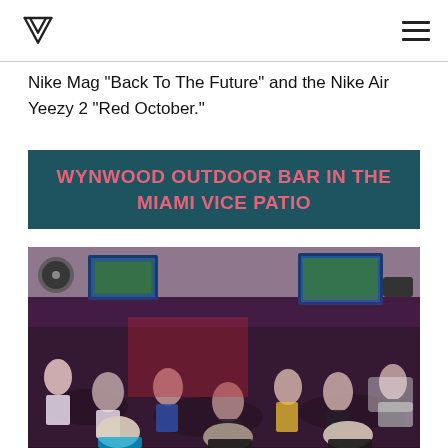W logo and hamburger menu
Nike Mag “Back To The Future” and the Nike Air Yeezy 2 “Red October.”
WYNWOOD OUTDOOR BAR IN THE MIAMI VICE PATIO
[Figure (photo): Indoor/outdoor bar venue crowded with people watching sports on multiple TV screens, warm pink and red ambient lighting, tent-covered patio setting.]